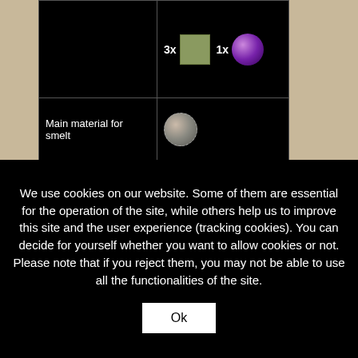[Figure (screenshot): Game crafting table screenshot showing two rows. Row 1: right cell shows '3x [green square icon] 1x [purple ball icon]'. Row 2: left cell shows 'Main material for smelt', right cell shows a gray ball icon.]
We use cookies on our website. Some of them are essential for the operation of the site, while others help us to improve this site and the user experience (tracking cookies). You can decide for yourself whether you want to allow cookies or not. Please note that if you reject them, you may not be able to use all the functionalities of the site.